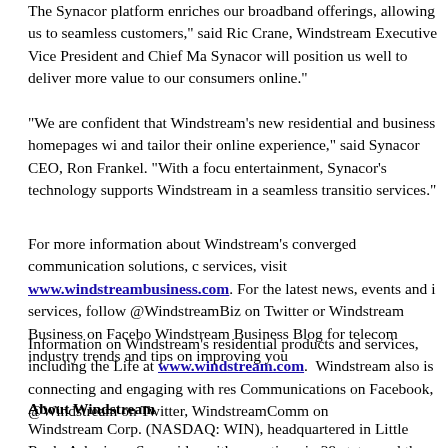The Synacor platform enriches our broadband offerings, allowing us to seamlessly customers," said Ric Crane, Windstream Executive Vice President and Chief Ma Synacor will position us well to deliver more value to our consumers online."
"We are confident that Windstream's new residential and business homepages wi and tailor their online experience," said Synacor CEO, Ron Frankel. "With a focu entertainment, Synacor's technology supports Windstream in a seamless transitio services."
For more information about Windstream's converged communication solutions, c services, visit www.windstreambusiness.com. For the latest news, events and i services, follow @WindstreamBiz on Twitter or Windstream Business on Facebo Windstream Business Blog for telecom industry trends and tips on improving you
Information on Windstream's residential products and services, including the Life at www.windstream.com. Windstream also is connecting and engaging with res Communications on Facebook, @Windstream on Twitter, WindstreamComm on
About Windstream
Windstream Corp. (NASDAQ: WIN), headquartered in Little Rock, Ark., is an S provider with operations in 29 states and the District of Columbia and about $4 b